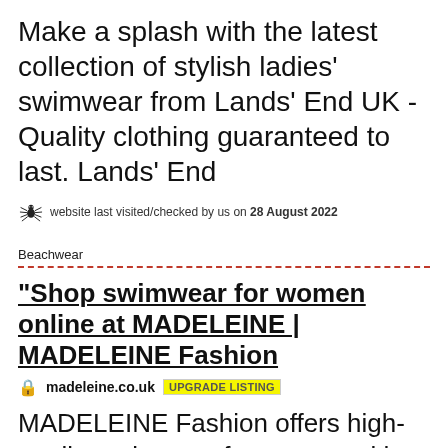Make a splash with the latest collection of stylish ladies' swimwear from Lands' End UK - Quality clothing guaranteed to last. Lands' End
website last visited/checked by us on 28 August 2022
Beachwear
"Shop swimwear for women online at MADELEINE | MADELEINE Fashion
madeleine.co.uk  UPGRADE LISTING
MADELEINE Fashion offers high-quality swimwear for women with high standards. Take advantage of our wide fashionable range and order your favourite pieces directly online